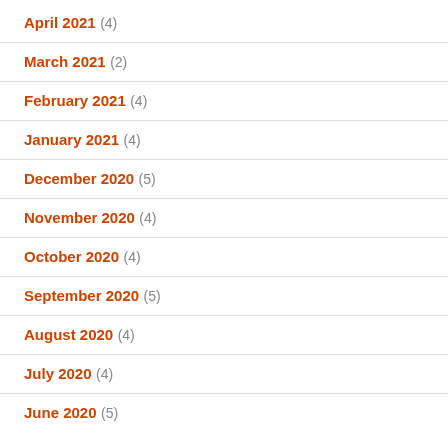April 2021 (4)
March 2021 (2)
February 2021 (4)
January 2021 (4)
December 2020 (5)
November 2020 (4)
October 2020 (4)
September 2020 (5)
August 2020 (4)
July 2020 (4)
June 2020 (5)